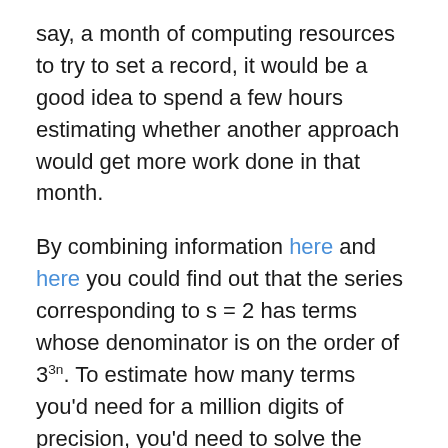say, a month of computing resources to try to set a record, it would be a good idea to spend a few hours estimating whether another approach would get more work done in that month.
By combining information here and here you could find out that the series corresponding to s = 2 has terms whose denominator is on the order of 3^{3n}. To estimate how many terms you'd need for a million digits of precision, you'd need to solve the equation
and by taking logs you find this is 1,047,951. In other words, about 1/3 fewer terms than using